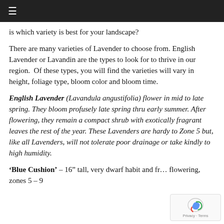≡
is which variety is best for your landscape?
There are many varieties of Lavender to choose from. English Lavender or Lavandin are the types to look for to thrive in our region. Of these types, you will find the varieties will vary in height, foliage type, bloom color and bloom time.
English Lavender (Lavandula angustifolia) flower in mid to late spring. They bloom profusely late spring thru early summer. After flowering, they remain a compact shrub with exotically fragrant leaves the rest of the year. These Lavenders are hardy to Zone 5 but, like all Lavenders, will not tolerate poor drainage or take kindly to high humidity.
'Blue Cushion' – 16" tall, very dwarf habit and fr… flowering, zones 5 – 9